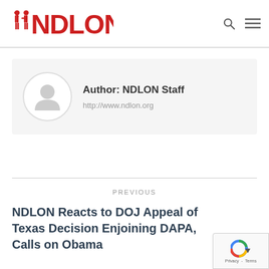NDLON
Author: NDLON Staff
http://www.ndlon.org
PREVIOUS
NDLON Reacts to DOJ Appeal of Texas Decision Enjoining DAPA, Calls on Obama